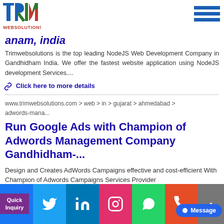[Figure (logo): TRIM WEBSOLUTIONS logo with blue T, blue/green R, green I, red/green M, and WEBSOLUTIONS text in orange/red]
[Figure (other): Hamburger menu icon with three blue horizontal bars]
anam, india
Trimwebsolutions is the top leading NodeJS Web Development Company in Gandhidham India. We offer the fastest website application using NodeJS development Services....
Click here to more details
www.trimwebsolutions.com > web > in > gujarat > ahmedabad > adwords-mana...
Run Google Ads with Champion of Adwords Management Company Gandhidham-...
Design and Creates AdWords Campaigns effective and cost-efficient With Champion of Adwords Campaigns Services Provider
Trimw...                                                                s Mana
[Figure (other): Social media bar with Facebook, Twitter, LinkedIn, Instagram, WhatsApp, Phone icons; Quick Inquiry tab; Message button; scroll-up button]